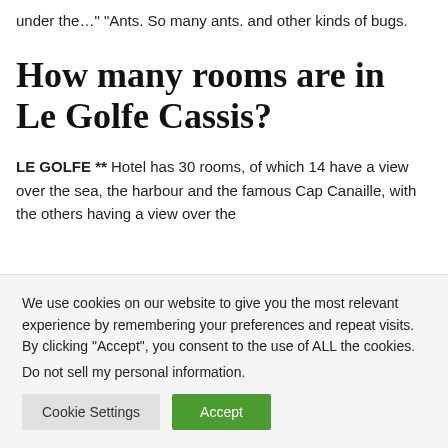under the…" "Ants. So many ants. and other kinds of bugs.
How many rooms are in Le Golfe Cassis?
LE GOLFE ** Hotel has 30 rooms, of which 14 have a view over the sea, the harbour and the famous Cap Canaille, with the others having a view over the
We use cookies on our website to give you the most relevant experience by remembering your preferences and repeat visits. By clicking “Accept”, you consent to the use of ALL the cookies.
Do not sell my personal information.
Cookie Settings   Accept